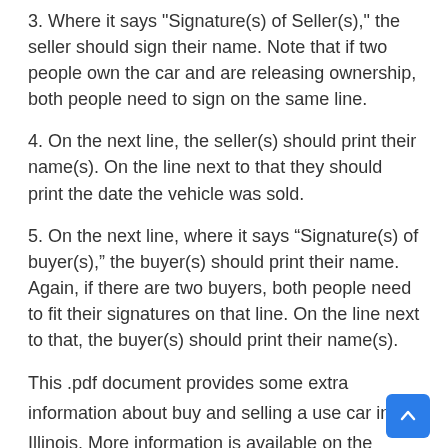3. Where it says "Signature(s) of Seller(s)," the seller should sign their name. Note that if two people own the car and are releasing ownership, both people need to sign on the same line.
4. On the next line, the seller(s) should print their name(s). On the line next to that they should print the date the vehicle was sold.
5. On the next line, where it says “Signature(s) of buyer(s),” the buyer(s) should print their name. Again, if there are two buyers, both people need to fit their signatures on that line. On the line next to that, the buyer(s) should print their name(s).
This .pdf document provides some extra information about buy and selling a use car in Illinois. More information is available on the Secretary of State ’ randomness Driver Services